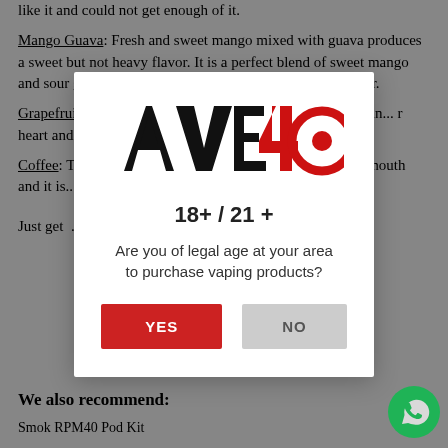like it and could not get enough of it.
Mango Guava: Fresh and sweet mango mixed with guava produces a sweet but not heavy flavor. It is a perfect blend of sweet mango and sour guava. Do not miss it if you like mixed fruit flavor.
Grapefr... mixed with min... r heart and brin... er.
Coffee: T... tic hazeln... r mouth and it is... sso. The aroma li...
[Figure (logo): AVE40 logo with stylized text - black AVE and red 40 with a red target/bullseye circle]
18+ / 21 +
Are you of legal age at your area to purchase vaping products?
YES | NO (buttons)
Just get ... ght by Tugboat...
We also recommend:
Smok RPM40 Pod Kit...
[Figure (logo): WhatsApp green circle icon with phone handset]